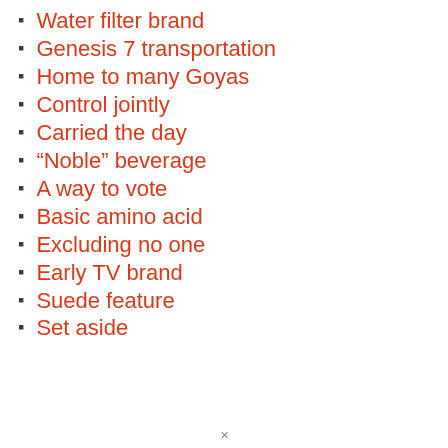Water filter brand
Genesis 7 transportation
Home to many Goyas
Control jointly
Carried the day
“Noble” beverage
A way to vote
Basic amino acid
Excluding no one
Early TV brand
Suede feature
Set aside